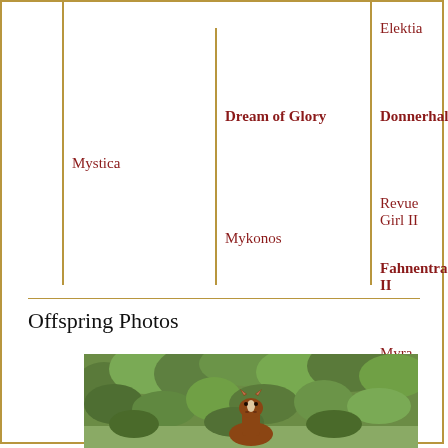[Figure (other): Pedigree family tree showing horse lineage. Column 1: Mystica. Column 2: Dream of Glory, Mykonos. Column 3: Elektia, Donnerhall, Revue Girl II, Fahnentraeger II, Myra.]
Offspring Photos
[Figure (photo): Photo of a chestnut horse facing the camera, surrounded by green foliage/bushes in an outdoor setting.]